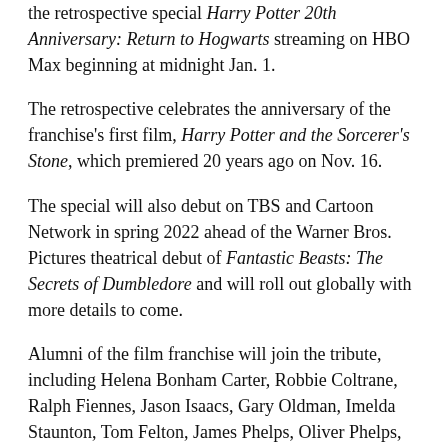the retrospective special Harry Potter 20th Anniversary: Return to Hogwarts streaming on HBO Max beginning at midnight Jan. 1.
The retrospective celebrates the anniversary of the franchise's first film, Harry Potter and the Sorcerer's Stone, which premiered 20 years ago on Nov. 16.
The special will also debut on TBS and Cartoon Network in spring 2022 ahead of the Warner Bros. Pictures theatrical debut of Fantastic Beasts: The Secrets of Dumbledore and will roll out globally with more details to come.
Alumni of the film franchise will join the tribute, including Helena Bonham Carter, Robbie Coltrane, Ralph Fiennes, Jason Isaacs, Gary Oldman, Imelda Staunton, Tom Felton, James Phelps, Oliver Phelps, Mark Williams, Bonnie Wright, Alfred Enoch, Matthew Lewis, Evanna Lynch and Ian Hart, among others.